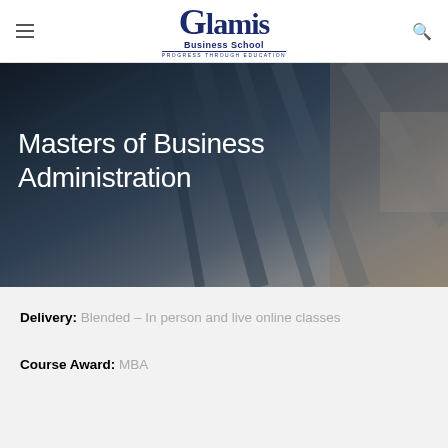Glamis Business School — PROGRESS THROUGH EDUCATION
[Figure (photo): Dark blurred background photo of suited figure, used as hero banner for Masters of Business Administration page]
Masters of Business Administration
Delivery: Blended – In person and live online classes
Course Award: MBA